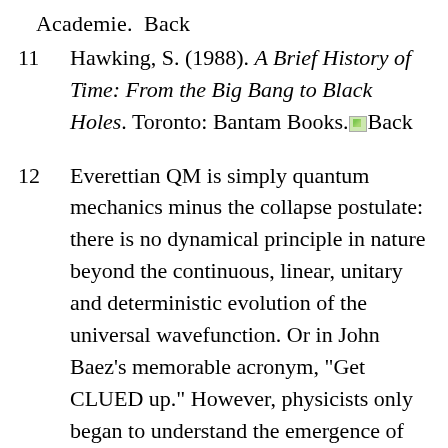Academie. Back
Hawking, S. (1988). A Brief History of Time: From the Big Bang to Black Holes. Toronto: Bantam Books. Back
Everettian QM is simply quantum mechanics minus the collapse postulate: there is no dynamical principle in nature beyond the continuous, linear, unitary and deterministic evolution of the universal wavefunction. Or in John Baez’s memorable acronym, "Get CLUED up." However, physicists only began to understand the emergence of quasi-classical macroscopic “branches”